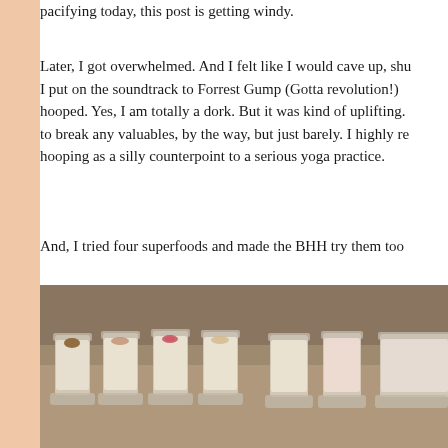pacifying today, this post is getting windy.
Later, I got overwhelmed. And I felt like I would cave up, shut down. I put on the soundtrack to Forrest Gump (Gotta revolution!) hooped. Yes, I am totally a dork. But it was kind of uplifting. to break any valuables, by the way, but just barely. I highly re hooping as a silly counterpoint to a serious yoga practice.
And, I tried four superfoods and made the BHH try them too
[Figure (photo): Four shot glasses filled with white/cream liquid and various toppings (spices/powders) arranged in a row on a metallic surface]
[Figure (photo): Three shot glasses filled with white/cream liquid arranged in a row on a metallic surface, partially cropped]